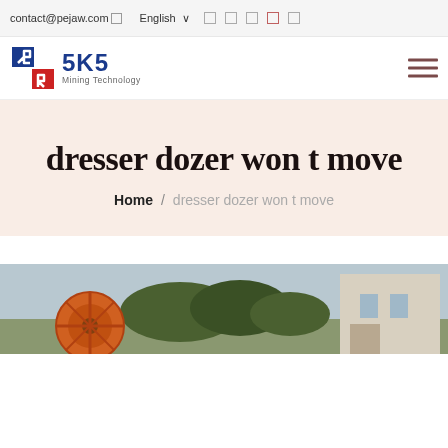contact@pejaw.com   English   [icons]
[Figure (logo): SKS Mining Technology logo with red and blue shield icon]
dresser dozer won t move
Home / dresser dozer won t move
[Figure (photo): Outdoor industrial machinery photo, partially visible at bottom of page]